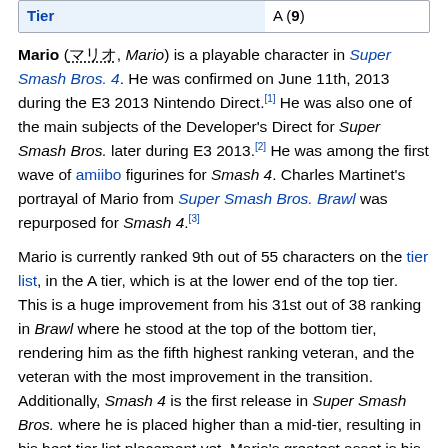| Tier |  |
| --- | --- |
| Tier | A (9) |
Mario (マリオ, Mario) is a playable character in Super Smash Bros. 4. He was confirmed on June 11th, 2013 during the E3 2013 Nintendo Direct.[1] He was also one of the main subjects of the Developer's Direct for Super Smash Bros. later during E3 2013.[2] He was among the first wave of amiibo figurines for Smash 4. Charles Martinet's portrayal of Mario from Super Smash Bros. Brawl was repurposed for Smash 4.[3]
Mario is currently ranked 9th out of 55 characters on the tier list, in the A tier, which is at the lower end of the top tier. This is a huge improvement from his 31st out of 38 ranking in Brawl where he stood at the top of the bottom tier, rendering him as the fifth highest ranking veteran, and the veteran with the most improvement in the transition. Additionally, Smash 4 is the first release in Super Smash Bros. where he is placed higher than a mid-tier, resulting in his best tier list placement yet. Mario's greatest asset is his effective frame data; most of his moves